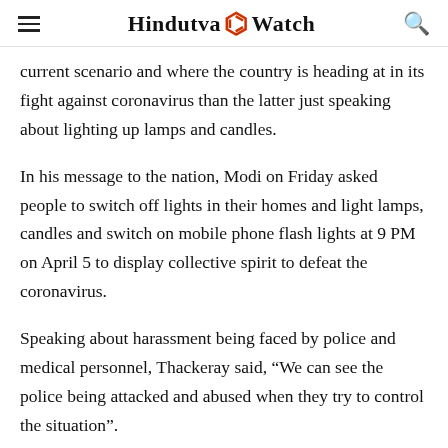Hindutva Watch
current scenario and where the country is heading at in its fight against coronavirus than the latter just speaking about lighting up lamps and candles.
In his message to the nation, Modi on Friday asked people to switch off lights in their homes and light lamps, candles and switch on mobile phone flash lights at 9 PM on April 5 to display collective spirit to defeat the coronavirus.
Speaking about harassment being faced by police and medical personnel, Thackeray said, “We can see the police being attacked and abused when they try to control the situation”.